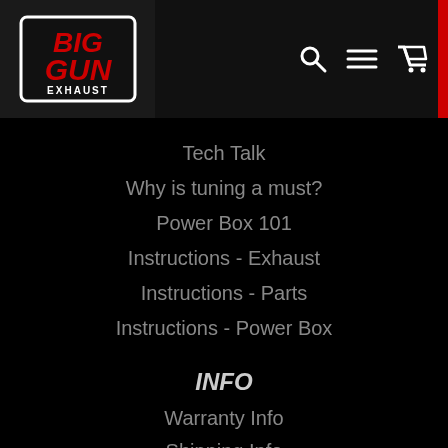[Figure (logo): Big Gun Exhaust logo — red stylized text BIG GUN with EXHAUST below, white border, black background]
Tech Talk
Why is tuning a must?
Power Box 101
Instructions - Exhaust
Instructions - Parts
Instructions - Power Box
INFO
Warranty Info
Shipping Info
Return Process
Drop Ships